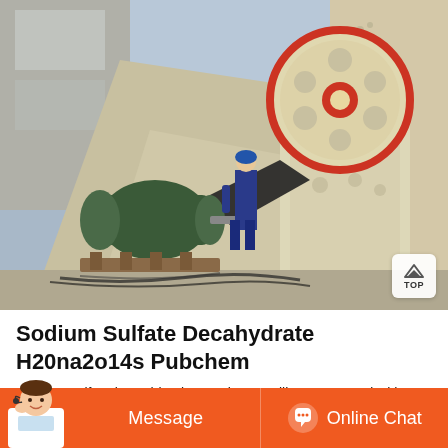[Figure (photo): Industrial jaw crusher machine outdoors with a large flywheel (cream/red rimmed), a green electric motor, drive belt, worker in blue standing next to it, building facade in background, cables on ground.]
Sodium Sulfate Decahydrate H20na2o14s Pubchem
Sodium Sulfate is a white, inorganic crystalline compound with various i... Sodium sulfate is found in nature as a...